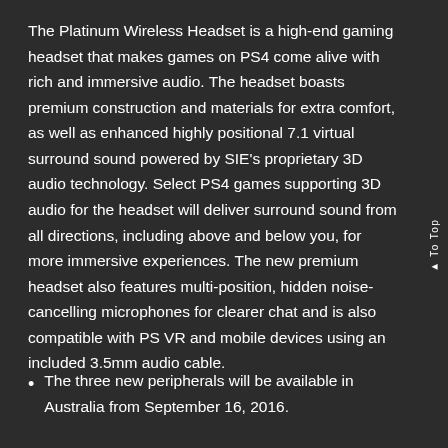The Platinum Wireless Headset is a high-end gaming headset that makes games on PS4 come alive with rich and immersive audio. The headset boasts premium construction and materials for extra comfort, as well as enhanced highly positional 7.1 virtual surround sound powered by SIE's proprietary 3D audio technology. Select PS4 games supporting 3D audio for the headset will deliver surround sound from all directions, including above and below you, for more immersive experiences. The new premium headset also features multi-position, hidden noise-cancelling microphones for clearer chat and is also compatible with PS VR and mobile devices using an included 3.5mm audio cable.
The three new peripherals will be available in Australia from September 16, 2016.